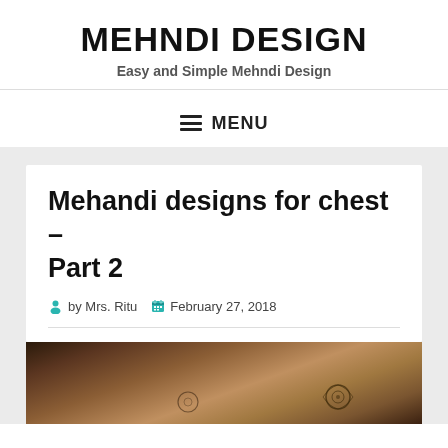MEHNDI DESIGN
Easy and Simple Mehndi Design
≡ MENU
Mehandi designs for chest – Part 2
by Mrs. Ritu   February 27, 2018
[Figure (photo): A close-up photo of a person's chest/neckline area with mehndi (henna) designs.]